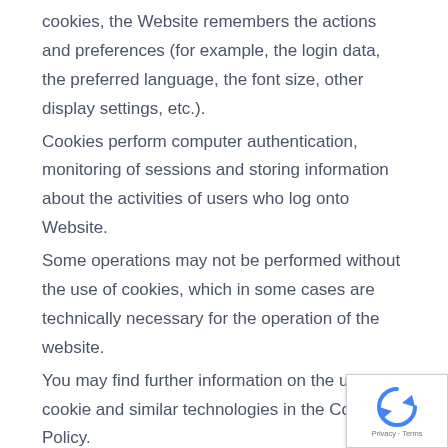cookies, the Website remembers the actions and preferences (for example, the login data, the preferred language, the font size, other display settings, etc.).
Cookies perform computer authentication, monitoring of sessions and storing information about the activities of users who log onto Website.
Some operations may not be performed without the use of cookies, which in some cases are technically necessary for the operation of the website.
You may find further information on the use of cookie and similar technologies in the Cookie Policy.